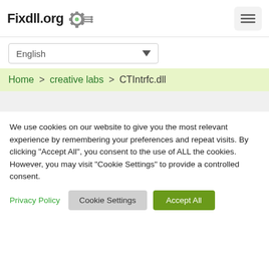Fixdll.org
[Figure (logo): Fixdll.org logo with gear/circuit icon]
[Figure (screenshot): Language dropdown selector showing English]
Home > creative labs > CTIntrfc.dll
We use cookies on our website to give you the most relevant experience by remembering your preferences and repeat visits. By clicking "Accept All", you consent to the use of ALL the cookies. However, you may visit "Cookie Settings" to provide a controlled consent.
Privacy Policy  Cookie Settings  Accept All